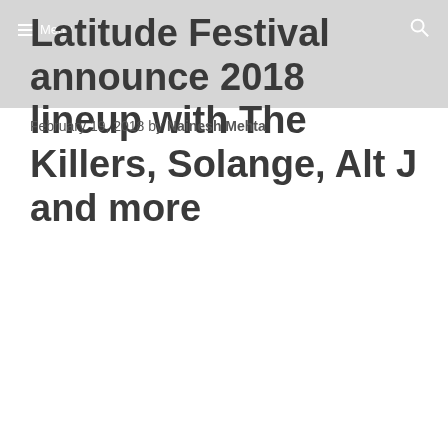Menu
Latitude Festival announce 2018 lineup with The Killers, Solange, Alt J and more
February 19, 2018 by Nainesh Mehta